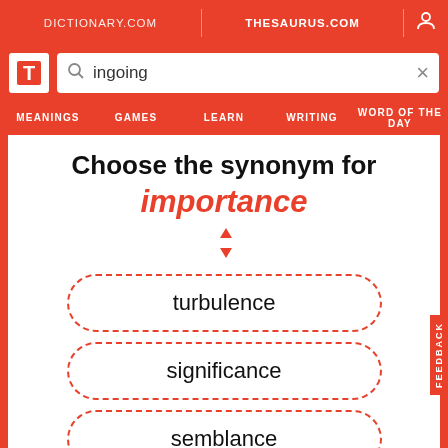DICTIONARY.COM   THESAURUS.COM
ingoing
MEANINGS   GAMES   LEARN   WRITING   WORD OF THE DAY
Choose the synonym for importance
turbulence
significance
semblance